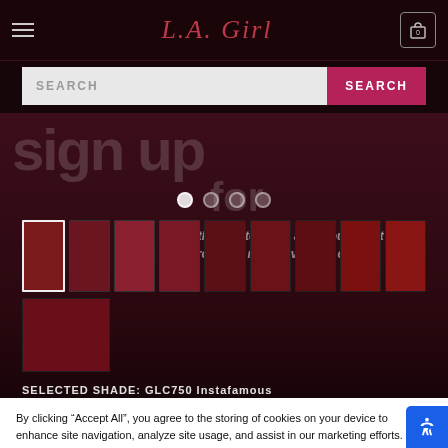L.A. Girl
[Figure (screenshot): E-commerce website screenshot for L.A. Girl cosmetics showing navigation bar with hamburger menu, logo, cart icon, search bar, hero image with sign up text, color swatches for lip products, selected shade label, cookie consent banner with Accept All button, and accessibility button]
SELECTED SHADE: GLC750 Instafamous
By clicking “Accept All”, you agree to the storing of cookies on your device to enhance site navigation, analyze site usage, and assist in our marketing efforts. To limit cookies or learn more, click Cookies Settings
ACCEPT ALL